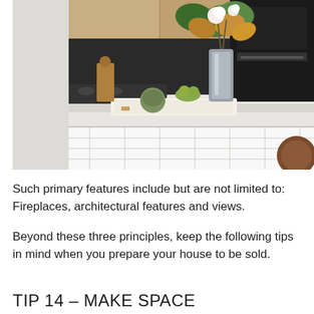[Figure (photo): Modern kitchen interior with white island benchtop featuring white subway tile splashback. On the benchtop sits a white wooden serving tray holding a silver metallic vase with large magnolia flowers and tropical leaves, a green artichoke, and green fruit in a bowl behind. Wooden cutting boards, kitchen appliances and black oven visible in background.]
Such primary features include but are not limited to: Fireplaces, architectural features and views.
Beyond these three principles, keep the following tips in mind when you prepare your house to be sold.
TIP 14 - MAKE SPACE